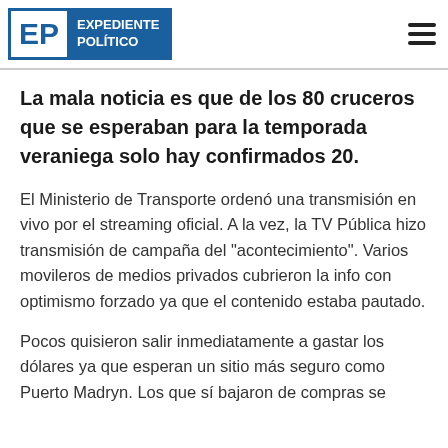EXPEDIENTE POLÍTICO
La mala noticia es que de los 80 cruceros que se esperaban para la temporada veraniega solo hay confirmados 20.
El Ministerio de Transporte ordenó una transmisión en vivo por el streaming oficial. A la vez, la TV Pública hizo transmisión de campaña del "acontecimiento". Varios movileros de medios privados cubrieron la info con optimismo forzado ya que el contenido estaba pautado.
Pocos quisieron salir inmediatamente a gastar los dólares ya que esperan un sitio más seguro como Puerto Madryn. Los que sí bajaron de compras se